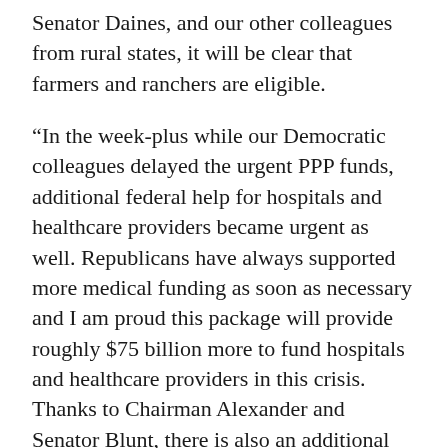Senator Daines, and our other colleagues from rural states, it will be clear that farmers and ranchers are eligible.
“In the week-plus while our Democratic colleagues delayed the urgent PPP funds, additional federal help for hospitals and healthcare providers became urgent as well. Republicans have always supported more medical funding as soon as necessary and I am proud this package will provide roughly $75 billion more to fund hospitals and healthcare providers in this crisis. Thanks to Chairman Alexander and Senator Blunt, there is also an additional $25 billion for state-led COVID-19 testing plans and for research, development, and other testing support from key agencies such as the CDC and the NIH.
“I welcome this bipartisan agreement and hope th…